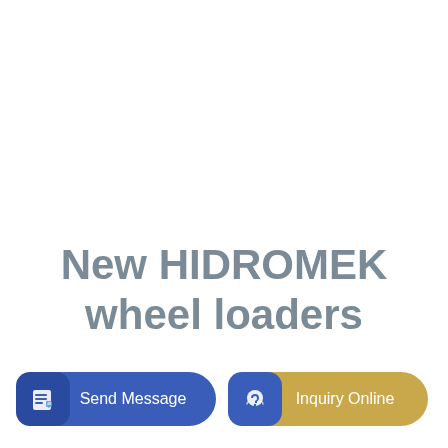New HIDROMEK wheel loaders
[Figure (other): Send Message button with document/edit icon on blue background with rounded pill shape]
[Figure (other): Inquiry Online button with headset/support icon on gold/tan background with rounded pill shape]